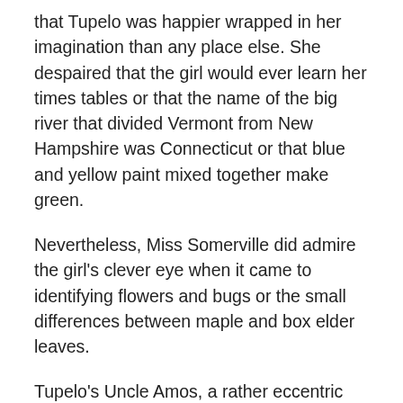that Tupelo was happier wrapped in her imagination than any place else. She despaired that the girl would ever learn her times tables or that the name of the big river that divided Vermont from New Hampshire was Connecticut or that blue and yellow paint mixed together make green.
Nevertheless, Miss Somerville did admire the girl's clever eye when it came to identifying flowers and bugs or the small differences between maple and box elder leaves.
Tupelo's Uncle Amos, a rather eccentric fixture in Carding prone to wearing shorts and Hawaiian shirts even in the deepest part of winter, took Miss Somerville's concerns seriously. He was a building sort of man, one who could fix a dripping faucet or stop a door from squeaking or create a whimsical sculpture from discarded gardening tools and lawn furniture.